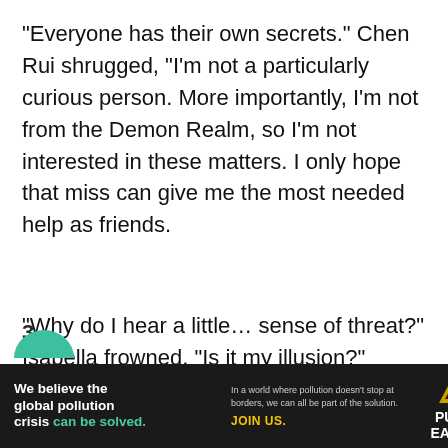“Everyone has their own secrets.” Chen Rui shrugged, “I’m not a particularly curious person. More importantly, I’m not from the Demon Realm, so I’m not interested in these matters. I only hope that miss can give me the most needed help as friends.
“Why do I hear a little… sense of threat?” Isabella frowned, “Is it my illusion?”
3
[Figure (other): Teal semicircle arc at bottom left, partial navigation element]
[Figure (infographic): Pure Earth advertisement banner. Black background. Left: 'We believe the global pollution crisis can be solved.' with 'can be solved' in teal. Middle: 'In a world where pollution doesn't stop at borders, we can all be part of the solution. JOIN US.' Right: Pure Earth logo (triangle/mountain icon with warning symbol) and 'PURE EARTH' text in white.]